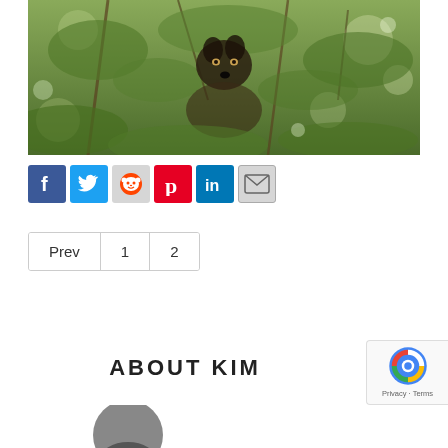[Figure (photo): A photo of an animal (appears to be a wolf or similar canine) partially hidden among green foliage and branches, looking toward the camera.]
[Figure (infographic): Social sharing buttons: Facebook (blue), Twitter (blue), Reddit (gray with alien logo), Pinterest (red), LinkedIn (blue), Email (gray)]
Prev  1  2
ABOUT KIM